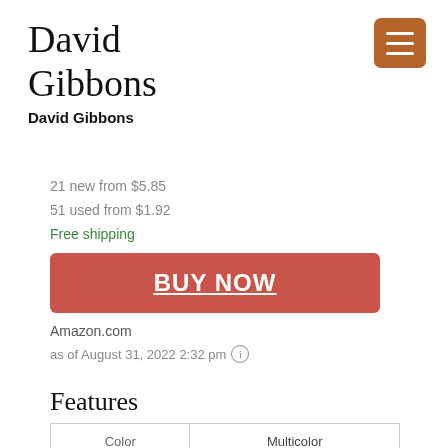David Gibbons
David Gibbons
21 new from $5.85
51 used from $1.92
Free shipping
BUY NOW
Amazon.com
as of August 31, 2022 2:32 pm
Features
| Color | Multicolor |
| --- | --- |
| Release Date | 2020-07-28T00:00:01Z |